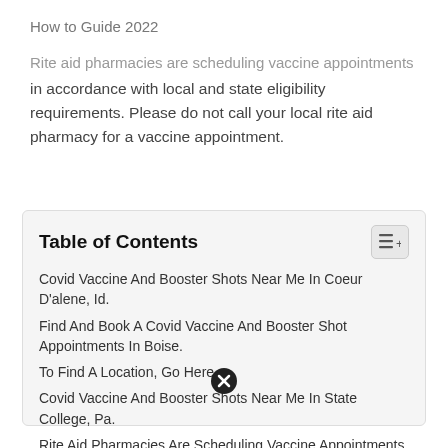How to Guide 2022
Rite aid pharmacies are scheduling vaccine appointments in accordance with local and state eligibility requirements. Please do not call your local rite aid pharmacy for a vaccine appointment.
Table of Contents
Covid Vaccine And Booster Shots Near Me In Coeur D'alene, Id.
Find And Book A Covid Vaccine And Booster Shot Appointments In Boise.
To Find A Location, Go Here.
Covid Vaccine And Booster Shots Near Me In State College, Pa.
Rite Aid Pharmacies Are Scheduling Vaccine Appointments In Accordance With Local And State.